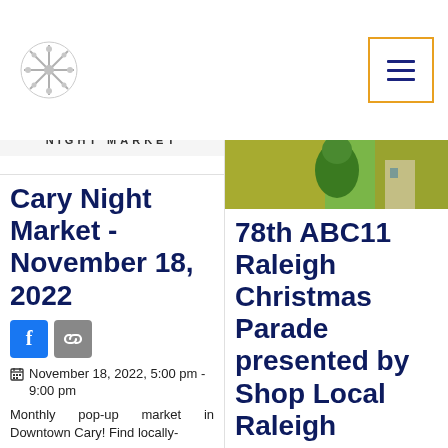[Figure (photo): Night Market banner image with 'NIGHT MARKET' text in white lettering on dark background]
Cary Night Market - November 18, 2022
November 18, 2022, 5:00 pm - 9:00 pm
Monthly pop-up market in Downtown Cary! Find locally-
[Figure (photo): Photo of person in green costume/outfit outdoors with autumn foliage in background]
78th ABC11 Raleigh Christmas Parade presented by Shop Local Raleigh